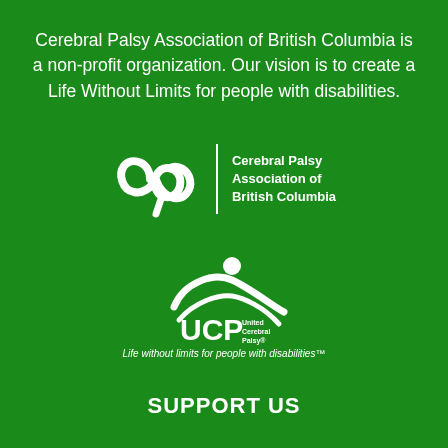Cerebral Palsy Association of British Columbia is a non-profit organization. Our vision is to create a Life Without Limits for people with disabilities.
[Figure (logo): Cerebral Palsy Association of British Columbia logo — white CP infinity-style symbol with vertical divider and text 'Cerebral Palsy Association of British Columbia' on green background]
[Figure (logo): UCP United Cerebral Palsy logo — white figure with raised arms and 'UCP United Cerebral Palsy' text with tagline 'Life without limits for people with disabilities' on green background]
SUPPORT US